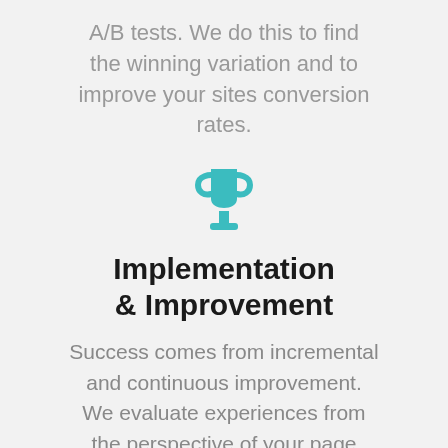A/B tests. We do this to find the winning variation and to improve your sites conversion rates.
[Figure (illustration): Teal trophy cup icon]
Implementation & Improvement
Success comes from incremental and continuous improvement. We evaluate experiences from the perspective of your page visitors. Our team continues to refine